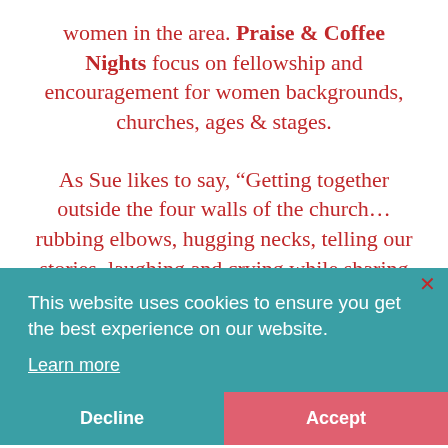women in the area. Praise & Coffee Nights focus on fellowship and encouragement for women backgrounds, churches, ages & stages.
As Sue likes to say, “Getting together outside the four walls of the church…rubbing elbows, hugging necks, telling our stories, laughing and crying while sharing the love of Jesus with each other.”
This website uses cookies to ensure you get the best experience on our website.
Learn more
Decline
Accept
Praise & Coffee Night doesn’t cost a thing unless you want to purchase a yummy coffee or dessert from The Coffee Scene.